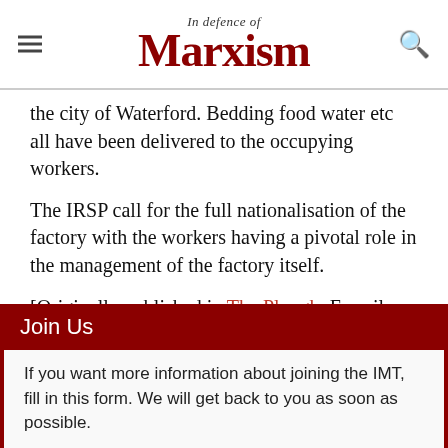In Defence of Marxism
the city of Waterford. Bedding food water etc all have been delivered to the occupying workers.
The IRSP call for the full nationalisation of the factory with the workers having a pivotal role in the management of the factory itself.
[Originally published in The Plough, E-mail newsletter of the Irish Republican Socialist Party, Vol. 6, No 1, February 2, 2009]
Join Us
If you want more information about joining the IMT, fill in this form. We will get back to you as soon as possible.